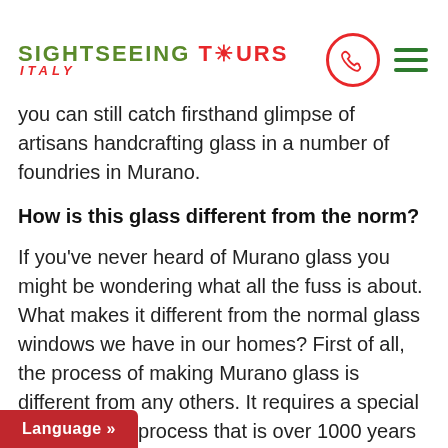SIGHTSEEING TOURS ITALY
you can still catch firsthand glimpse of artisans handcrafting glass in a number of foundries in Murano.
How is this glass different from the norm?
If you've never heard of Murano glass you might be wondering what all the fuss is about. What makes it different from the normal glass windows we have in our homes? First of all, the process of making Murano glass is different from any others. It requires a special glassblowing process that is over 1000 years old. Rediscovered by local artisans who found the remains of ancient Roman glassware at the end of the first millennium, they continuously developed and enhanced the technique which has been relied upon hen making the glass they mix it with